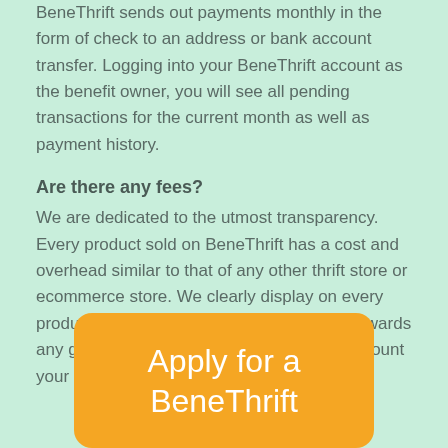BeneThrift sends out payments monthly in the form of check to an address or bank account transfer. Logging into your BeneThrift account as the benefit owner, you will see all pending transactions for the current month as well as payment history.
Are there any fees?
We are dedicated to the utmost transparency. Every product sold on BeneThrift has a cost and overhead similar to that of any other thrift store or ecommerce store. We clearly display on every product page exactly what amount will go towards any given benefit. This will always be the amount your benefit will receive as well.
[Figure (other): Orange rounded rectangle button with text 'Apply for a BeneThrift']